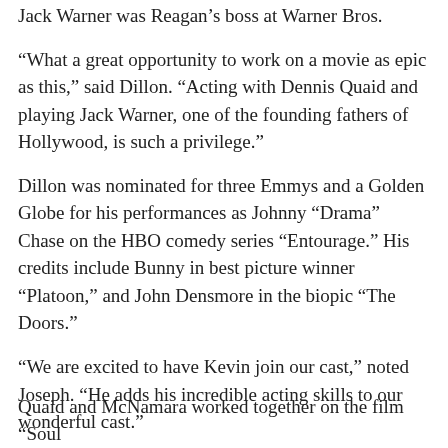Jack Warner was Reagan’s boss at Warner Bros.
“What a great opportunity to work on a movie as epic as this,” said Dillon. “Acting with Dennis Quaid and playing Jack Warner, one of the founding fathers of Hollywood, is such a privilege.”
Dillon was nominated for three Emmys and a Golden Globe for his performances as Johnny “Drama” Chase on the HBO comedy series “Entourage.” His credits include Bunny in best picture winner “Platoon,” and John Densmore in the biopic “The Doors.”
“We are excited to have Kevin join our cast,” noted Joseph. “He adds his incredible acting skills to our wonderful cast.”
Quaid and McNamara worked together on the film “Soul